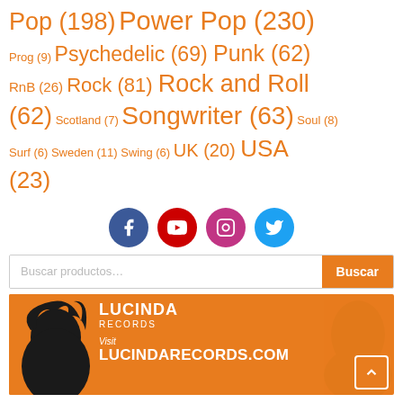Pop (198) Power Pop (230) Prog (9) Psychedelic (69) Punk (62) RnB (26) Rock (81) Rock and Roll (62) Scotland (7) Songwriter (63) Soul (8) Surf (6) Sweden (11) Swing (6) UK (20) USA (23)
[Figure (infographic): Social media icons: Facebook (blue circle), YouTube (red circle), Instagram (pink/magenta circle), Twitter (light blue circle)]
Buscar productos...
Buscar
[Figure (illustration): Lucinda Records orange banner with black silhouette of a woman's profile. Text reads: LUCINDA RECORDS, Visit LUCINDARECORDS.COM]
LUCINDA RECORDS NEWSLETTER